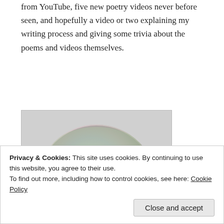from YouTube, five new poetry videos never before seen, and hopefully a video or two explaining my writing process and giving some trivia about the poems and videos themselves.
[Figure (photo): A CD/DVD disc image with a Photobucket watermark overlay, shown on a light gray background.]
Privacy & Cookies: This site uses cookies. By continuing to use this website, you agree to their use.
To find out more, including how to control cookies, see here: Cookie Policy
Close and accept